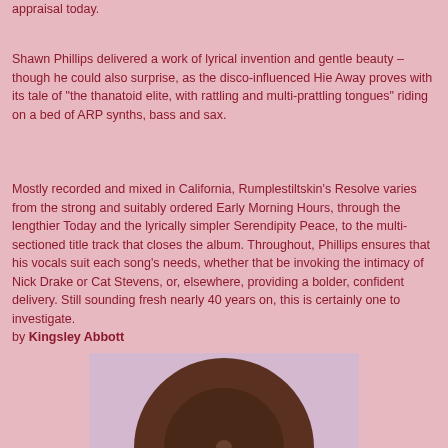appraisal today.
Shawn Phillips delivered a work of lyrical invention and gentle beauty – though he could also surprise, as the disco-influenced Hie Away proves with its tale of "the thanatoid elite, with rattling and multi-prattling tongues" riding on a bed of ARP synths, bass and sax.
Mostly recorded and mixed in California, Rumplestiltskin's Resolve varies from the strong and suitably ordered Early Morning Hours, through the lengthier Today and the lyrically simpler Serendipity Peace, to the multi-sectioned title track that closes the album. Throughout, Phillips ensures that his vocals suit each song's needs, whether that be invoking the intimacy of Nick Drake or Cat Stevens, or, elsewhere, providing a bolder, confident delivery. Still sounding fresh nearly 40 years on, this is certainly one to investigate.
by Kingsley Abbott
[Figure (photo): Top portion of a vinyl record or disc visible at the bottom of the page, brown/dark circular object on a light pink/lavender background rectangle.]